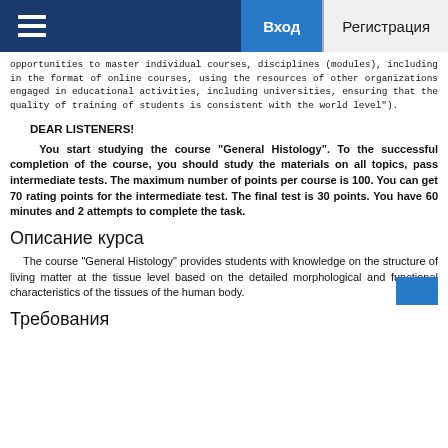Вход  Регистрация
opportunities to master individual courses, disciplines (modules), including in the format of online courses, using the resources of other organizations engaged in educational activities, including universities, ensuring that the quality of training of students is consistent with the world level").
DEAR LISTENERS!
You start studying the course "General Histology". To the successful completion of the course, you should study the materials on all topics, pass intermediate tests. The maximum number of points per course is 100. You can get 70 rating points for the intermediate test. The final test is 30 points. You have 60 minutes and 2 attempts to complete the task.
Описание курса
The course "General Histology" provides students with knowledge on the structure of living matter at the tissue level based on the detailed morphological and functional characteristics of the tissues of the human body.
Требования